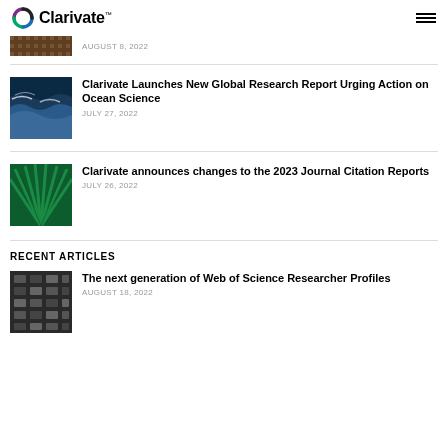Clarivate
AUGUST 8, 2022
Clarivate Launches New Global Research Report Urging Action on Ocean Science
JULY 27, 2022
Clarivate announces changes to the 2023 Journal Citation Reports
JULY 26, 2022
RECENT ARTICLES
The next generation of Web of Science Researcher Profiles
AUGUST 18, 2022